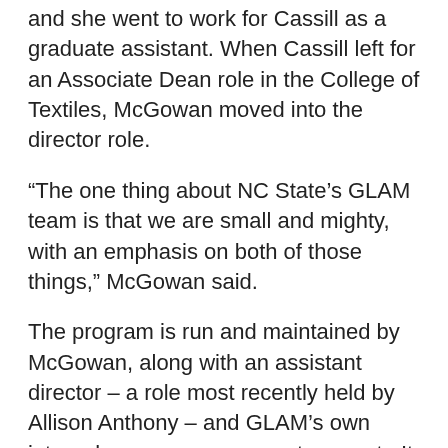and she went to work for Cassill as a graduate assistant. When Cassill left for an Associate Dean role in the College of Textiles, McGowan moved into the director role.
“The one thing about NC State’s GLAM team is that we are small and mighty, with an emphasis on both of those things,” McGowan said.
The program is run and maintained by McGowan, along with an assistant director – a role most recently held by Allison Anthony – and GLAM’s own internal career management support.  It is also advised and bolstered by its Industry Advisory Board, with board members who have significant experience spanning all three sectors of luxury.